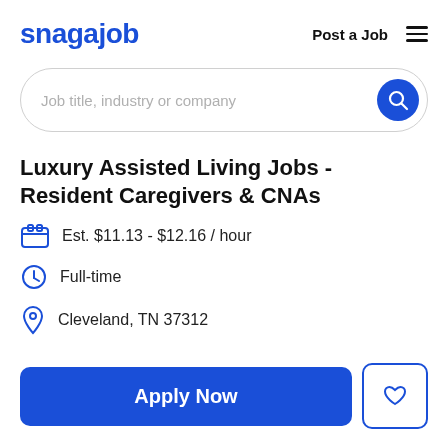snagajob | Post a Job
Job title, industry or company
Luxury Assisted Living Jobs - Resident Caregivers & CNAs
Est. $11.13 - $12.16 / hour
Full-time
Cleveland, TN 37312
Apply Now